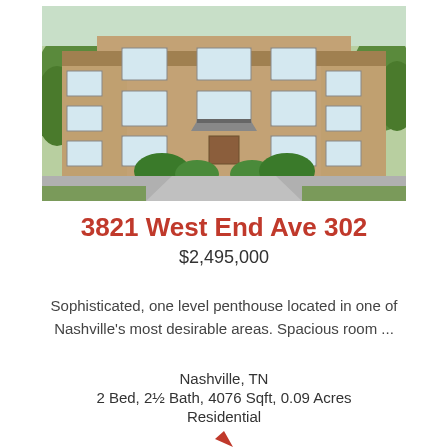[Figure (photo): Exterior photo of a three-story brick residential building at 3821 West End Ave 302, Nashville, TN. The building has large multi-pane windows and a covered entrance with greenery and trees surrounding it.]
3821 West End Ave 302
$2,495,000
Sophisticated, one level penthouse located in one of Nashville's most desirable areas. Spacious room ...
Nashville, TN
2 Bed, 2½ Bath, 4076 Sqft, 0.09 Acres
Residential